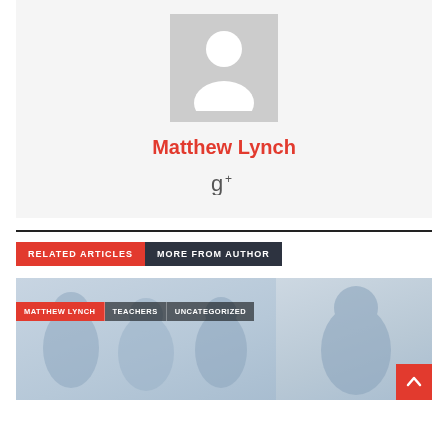[Figure (photo): Author avatar placeholder — grey square with white person silhouette icon]
Matthew Lynch
[Figure (logo): Google+ icon (g+)]
RELATED ARTICLES  MORE FROM AUTHOR
[Figure (photo): Article thumbnail showing students in a classroom, with category tags: MATTHEW LYNCH, TEACHERS, UNCATEGORIZED overlaid]
[Figure (photo): Second partial article thumbnail on the right showing a student, partially visible]